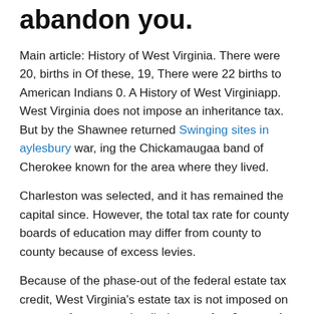abandon you.
Main article: History of West Virginia. There were 20, births in Of these, 19, There were 22 births to American Indians 0. A History of West Virginiapp. West Virginia does not impose an inheritance tax. But by the Shawnee returned Swinging sites in aylesbury war, ing the Chickamaugaa band of Cherokee known for the area where they lived.
Charleston was selected, and it has remained the capital since. However, the total tax rate for county boards of education may differ from county to county because of excess levies.
Because of the phase-out of the federal estate tax credit, West Virginia's estate tax is not imposed on estates of persons who died on or after January 1, The largest private employers in West Virginia, as of Marchwere: On January 9,a chemical spill contaminated the water supply ofpeople in nine West Virginia counties near Charleston.